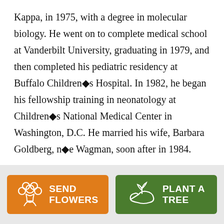Kappa, in 1975, with a degree in molecular biology. He went on to complete medical school at Vanderbilt University, graduating in 1979, and then completed his pediatric residency at Buffalo Children�s Hospital. In 1982, he began his fellowship training in neonatology at Children�s National Medical Center in Washington, D.C. He married his wife, Barbara Goldberg, n�e Wagman, soon after in 1984.
Neal Goldberg founded the NICU at Arlington Memorial Hospital in Arlington, TX in 1984, following
[Figure (infographic): Two call-to-action buttons: 'SEND FLOWERS' (orange) with a bouquet icon, and 'PLANT A TREE' (green) with a plant/hand icon, displayed side by side on a grey background.]